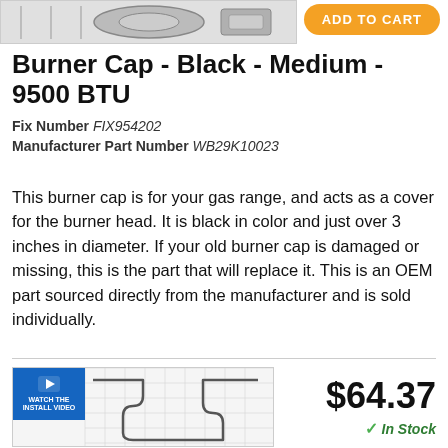[Figure (photo): Top portion of product image showing a burner cap part on a light gray background, cropped]
ADD TO CART
Burner Cap - Black - Medium - 9500 BTU
Fix Number FIX954202
Manufacturer Part Number WB29K10023
This burner cap is for your gas range, and acts as a cover for the burner head. It is black in color and just over 3 inches in diameter. If your old burner cap is damaged or missing, this is the part that will replace it. This is an OEM part sourced directly from the manufacturer and is sold individually.
[Figure (photo): Install video thumbnail showing a heating element wire bent in a U-shape on a grid background, with a blue 'Watch the Install Video' badge]
$64.37
In Stock